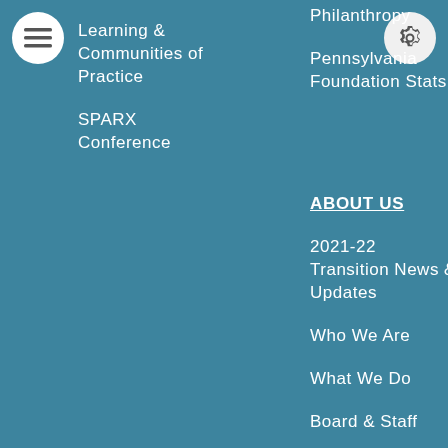[Figure (other): Hamburger menu button - white circle with three horizontal lines icon]
[Figure (other): Settings gear icon - light gray circle with gear icon]
Learning & Communities of Practice
SPARX Conference
Philanthropy
Pennsylvania Foundation Stats
ABOUT US
2021-22 Transition News & Updates
Who We Are
What We Do
Board & Staff
Newsroom
Financials